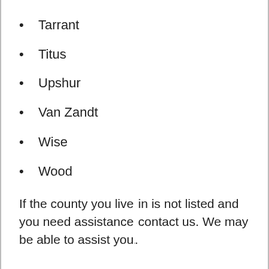Tarrant
Titus
Upshur
Van Zandt
Wise
Wood
If the county you live in is not listed and you need assistance contact us. We may be able to assist you.